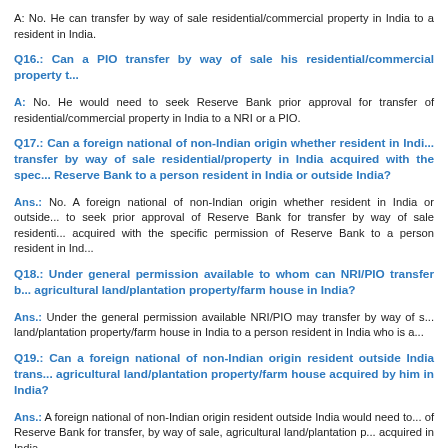A: No. He can transfer by way of sale residential/commercial property in India to a resident in India.
Q16.: Can a PIO transfer by way of sale his residential/commercial property to...
A: No. He would need to seek Reserve Bank prior approval for transfer of residential/commercial property in India to a NRI or a PIO.
Q17.: Can a foreign national of non-Indian origin whether resident in India or outside India transfer by way of sale residential/property in India acquired with the specific permission of Reserve Bank to a person resident in India or outside India?
Ans.: No. A foreign national of non-Indian origin whether resident in India or outside India to seek prior approval of Reserve Bank for transfer by way of sale residential/property acquired with the specific permission of Reserve Bank to a person resident in India...
Q18.: Under general permission available to whom can NRI/PIO transfer by way of sale agricultural land/plantation property/farm house in India?
Ans.: Under the general permission available NRI/PIO may transfer by way of sale agricultural land/plantation property/farm house in India to a person resident in India who is a...
Q19.: Can a foreign national of non-Indian origin resident outside India transfer agricultural land/plantation property/farm house acquired by him in India?
Ans.: A foreign national of non-Indian origin resident outside India would need to seek prior approval of Reserve Bank for transfer, by way of sale, agricultural land/plantation property acquired in India.
Q20.: Are NRIs permitted to maintain accounts in rupees and in foreign currency...